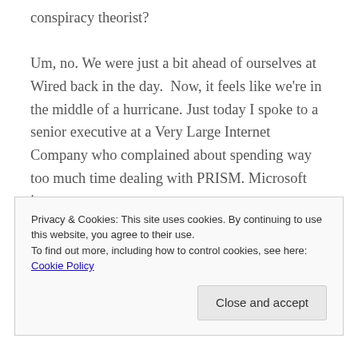conspiracy theorist?
Um, no. We were just a bit ahead of ourselves at Wired back in the day.  Now, it feels like we're in the middle of a hurricane. Just today I spoke to a senior executive at a Very Large Internet Company who complained about spending way too much time dealing with PRISM. Microsoft just
Privacy & Cookies: This site uses cookies. By continuing to use this website, you agree to their use.
To find out more, including how to control cookies, see here: Cookie Policy
Close and accept